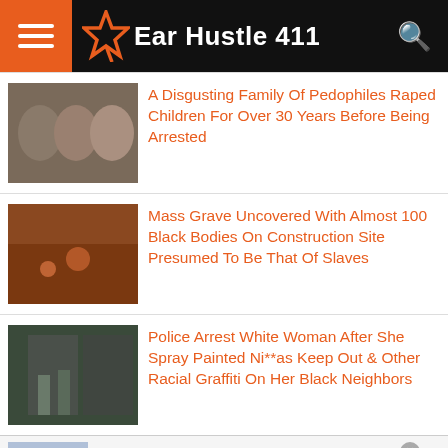Ear Hustle 411
A Disgusting Family Of Pedophiles Raped Children For Over 30 Years Before Being Arrested
Mass Grave Uncovered With Almost 100 Black Bodies On Construction Site Presumed To Be That Of Slaves
Police Arrest White Woman After She Spray Painted Ni**as Keep Out & Other Racial Graffiti On Her Black Neighbors
20% OFF Britax One4Life 2pk
one 4 life cadet
www.albeebaby.com